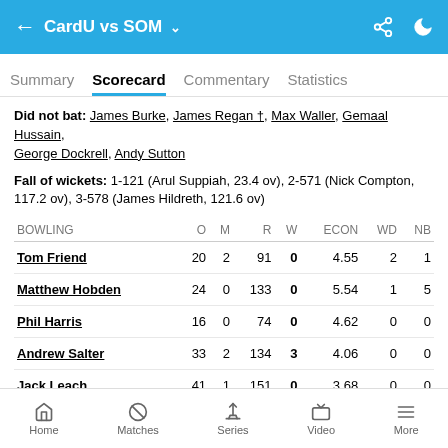CardU vs SOM
Scorecard
Did not bat: James Burke, James Regan †, Max Waller, Gemaal Hussain, George Dockrell, Andy Sutton
Fall of wickets: 1-121 (Arul Suppiah, 23.4 ov), 2-571 (Nick Compton, 117.2 ov), 3-578 (James Hildreth, 121.6 ov)
| BOWLING | O | M | R | W | ECON | WD | NB |
| --- | --- | --- | --- | --- | --- | --- | --- |
| Tom Friend | 20 | 2 | 91 | 0 | 4.55 | 2 | 1 |
| Matthew Hobden | 24 | 0 | 133 | 0 | 5.54 | 1 | 5 |
| Phil Harris | 16 | 0 | 74 | 0 | 4.62 | 0 | 0 |
| Andrew Salter | 33 | 2 | 134 | 3 | 4.06 | 0 | 0 |
| Jack Leach | 41 | 1 | 151 | 0 | 3.68 | 0 | 0 |
| Will Jones | 7 | 0 | 45 | 0 | 6.42 | 1 | 0 |
Home  Matches  Series  Video  More